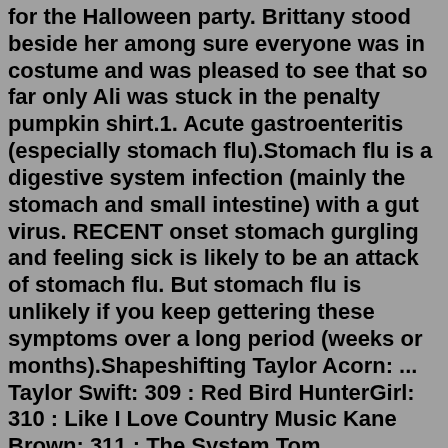for the Halloween party. Brittany stood beside her among sure everyone was in costume and was pleased to see that so far only Ali was stuck in the penalty pumpkin shirt.1. Acute gastroenteritis (especially stomach flu).Stomach flu is a digestive system infection (mainly the stomach and small intestine) with a gut virus. RECENT onset stomach gurgling and feeling sick is likely to be an attack of stomach flu. But stomach flu is unlikely if you keep gettering these symptoms over a long period (weeks or months).Shapeshifting Taylor Acorn: ... Taylor Swift: 309 : Red Bird HunterGirl: 310 : Like I Love Country Music Kane Brown: 311 : The System Tom MacDonald: Listen to Shapeshifting on Spotify. Taylor Acorn · Song · 2022. Preview of Spotify. Sign up to get unlimited songs and podcasts with occasional ads.Listen to Something Tonight by Taylor Acorn, 11,234 Shazams. ... Connect to Apple Music to play songs in full within Shazam. Taylor Acorn. Latest Releases: Shape Shifting. First Date. In My Head. Follow me on Spotify. Add to My Library. Subscribe